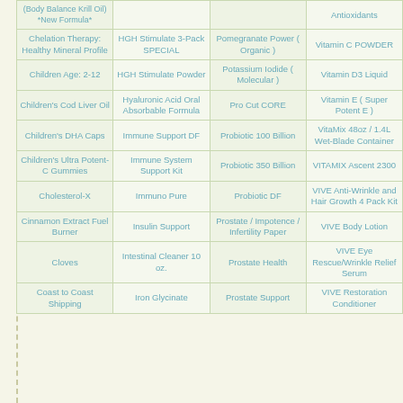| (Body Balance Krill Oil) *New Formula* |  |  | Antioxidants |
| Chelation Therapy: Healthy Mineral Profile | HGH Stimulate 3-Pack SPECIAL | Pomegranate Power ( Organic ) | Vitamin C POWDER |
| Children Age: 2-12 | HGH Stimulate Powder | Potassium Iodide ( Molecular ) | Vitamin D3 Liquid |
| Children's Cod Liver Oil | Hyaluronic Acid Oral Absorbable Formula | Pro Cut CORE | Vitamin E ( Super Potent E ) |
| Children's DHA Caps | Immune Support DF | Probiotic 100 Billion | VitaMix 48oz / 1.4L Wet-Blade Container |
| Children's Ultra Potent-C Gummies | Immune System Support Kit | Probiotic 350 Billion | VITAMIX Ascent 2300 |
| Cholesterol-X | Immuno Pure | Probiotic DF | VIVE Anti-Wrinkle and Hair Growth 4 Pack Kit |
| Cinnamon Extract Fuel Burner | Insulin Support | Prostate / Impotence / Infertility Paper | VIVE Body Lotion |
| Cloves | Intestinal Cleaner 10 oz. | Prostate Health | VIVE Eye Rescue/Wrinkle Relief Serum |
| Coast to Coast Shipping | Iron Glycinate | Prostate Support | VIVE Restoration Conditioner |